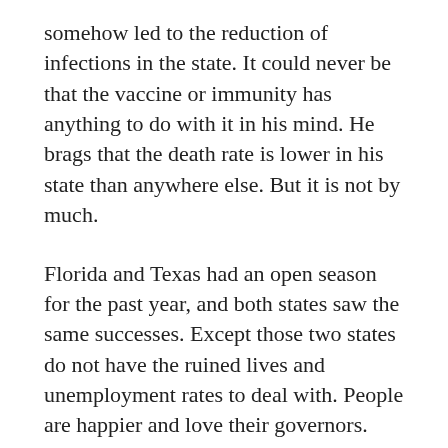somehow led to the reduction of infections in the state. It could never be that the vaccine or immunity has anything to do with it in his mind. He brags that the death rate is lower in his state than anywhere else. But it is not by much.
Florida and Texas had an open season for the past year, and both states saw the same successes. Except those two states do not have the ruined lives and unemployment rates to deal with. People are happier and love their governors. But Californians are praising the day when Newsom is gone for good.
The Democratic fraud never talks about the path he took to get to his fallacious reality. Newsom brags of his lockdowns and yet never mentions that he followed them to the letter. Everyone knows that he lived a